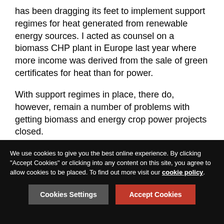has been dragging its feet to implement support regimes for heat generated from renewable energy sources. I acted as counsel on a biomass CHP plant in Europe last year where more income was derived from the sale of green certificates for heat than for power.
With support regimes in place, there do, however, remain a number of problems with getting biomass and energy crop power projects closed.
However, the industry is not without its difficulties.
The primary problem with biomass and energy crops is the nature of the feedstock itself.
The large- and small-scale models for biomass power plants clearly demonstrate the challenges being faced by biomass projects.
We use cookies to give you the best online experience. By clicking "Accept Cookies" or clicking into any content on this site, you agree to allow cookies to be placed. To find out more visit our cookie policy.